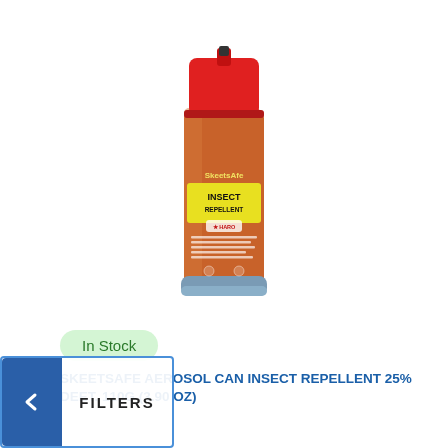[Figure (photo): A red aerosol can of SkeetsAfe Insect Repellent 25% DEET, 110g (3.90 oz), with a red cap and orange body with yellow label panel.]
In Stock
SKEETSAFE AEROSOL CAN INSECT REPELLENT 25% DEET. 110G (3.90 OZ)
FILTERS